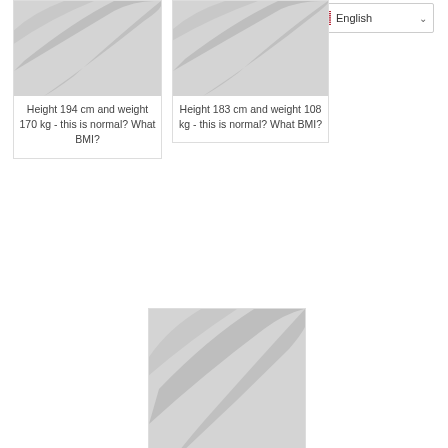[Figure (illustration): Placeholder thumbnail image with grey background and white swoosh design for BMI article]
Height 194 cm and weight 170 kg - this is normal? What BMI?
[Figure (illustration): Language selector dropdown showing English with flag]
[Figure (illustration): Placeholder thumbnail image with grey background and white swoosh design for BMI article]
Height 183 cm and weight 108 kg - this is normal? What BMI?
[Figure (illustration): Placeholder thumbnail image with grey background and white swoosh design for BMI article]
Height 169 cm and weight 138 kg - this is normal? What BMI?